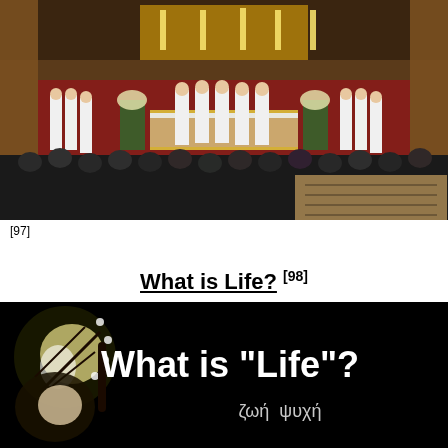[Figure (photo): Interior of an ornate church/cathedral during a religious ceremony. Clergy in white robes stand at an elaborately decorated altar with candles and flower arrangements. Congregation members are seated and standing in the foreground viewing the ceremony.]
[97]
What is Life? [98]
[Figure (photo): Dark background image showing a butterfly (black and white/yellow) on the left side. White bold text reads: What is "Life"? Below in smaller text: ζωή  ψυχή]